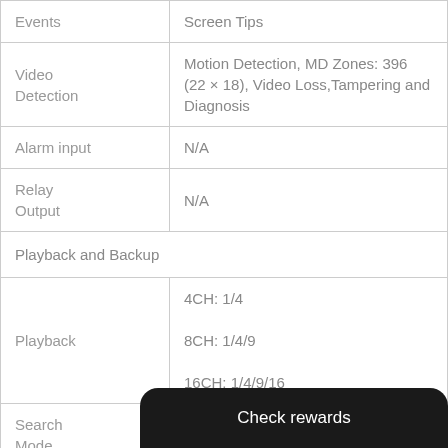| Feature | Details |
| --- | --- |
| Events | Screen Tips |
| Video Detection | Motion Detection, MD Zones: 396 (22 × 18), Video Loss, Tampering and Diagnosis |
| Alarm input | N/A |
| Relay Output | N/A |
| Playback and Backup |  |
| Playback | 4CH: 1/4
8CH: 1/4/9
16CH: 1/4/9/16 |
| Search Mode | Time /Date, Search (accu... |